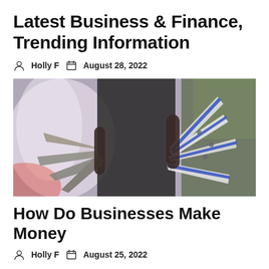Latest Business & Finance, Trending Information
Holly F   August 28, 2022
[Figure (photo): Person dressed in black costume holding decorative fan-like props with blue and silver metallic blades, against a colorful painted background]
How Do Businesses Make Money
Holly F   August 25, 2022